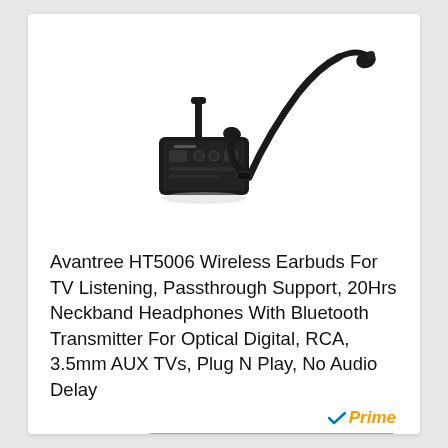[Figure (photo): Product photo showing a Bluetooth transmitter device (small black box with antenna) and a black neckband wireless earbuds/headphones set on a white background.]
Avantree HT5006 Wireless Earbuds For TV Listening, Passthrough Support, 20Hrs Neckband Headphones With Bluetooth Transmitter For Optical Digital, RCA, 3.5mm AUX TVs, Plug N Play, No Audio Delay
[Figure (logo): Amazon Prime badge with checkmark in blue and 'Prime' in orange italic text]
Check Price on Amazon